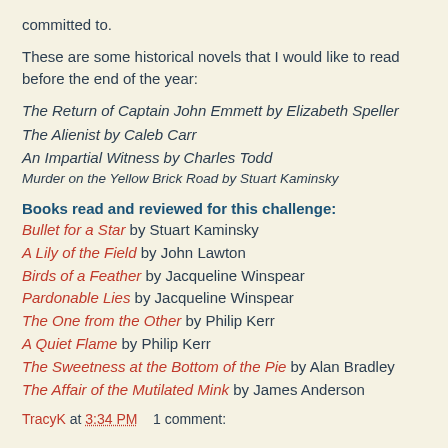committed to.
These are some historical novels that I would like to read before the end of the year:
The Return of Captain John Emmett by Elizabeth Speller
The Alienist by Caleb Carr
An Impartial Witness by Charles Todd
Murder on the Yellow Brick Road by Stuart Kaminsky
Books read and reviewed for this challenge:
Bullet for a Star by Stuart Kaminsky
A Lily of the Field by John Lawton
Birds of a Feather by Jacqueline Winspear
Pardonable Lies by Jacqueline Winspear
The One from the Other by Philip Kerr
A Quiet Flame by Philip Kerr
The Sweetness at the Bottom of the Pie by Alan Bradley
The Affair of the Mutilated Mink by James Anderson
TracyK at 3:34 PM    1 comment: